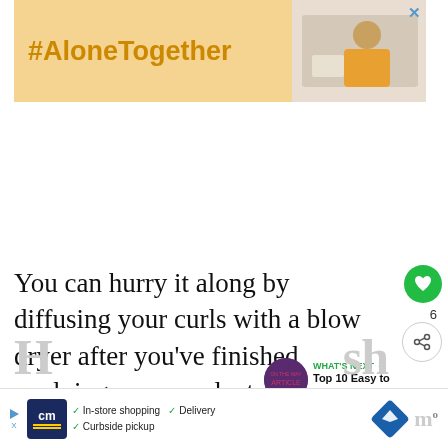[Figure (screenshot): #AloneTogether banner ad with yellow background and image of woman on right, with close X button]
You can hurry it along by diffusing your curls with a blow dryer after you've finished applying your products.
[Figure (infographic): WHAT'S NEXT arrow label with circular thumbnail and text: Top 10 Easy to Follow Wash...]
H...sh...
[Figure (screenshot): Bottom advertisement banner: cm logo, checkmarks for In-store shopping, Curbside pickup, Delivery, navigation diamond icon]